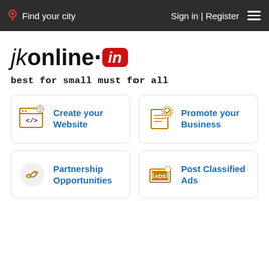Find your city    Sign in | Register
[Figure (logo): jkonline.in logo with red badge for 'in']
best for small must for all
Create your Website
Promote your Business
Partnership Opportunities
Post Classified Ads